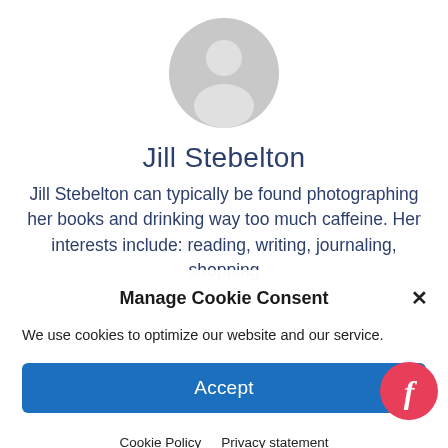[Figure (illustration): Generic grey user avatar silhouette circle]
Jill Stebelton
Jill Stebelton can typically be found photographing her books and drinking way too much caffeine. Her interests include: reading, writing, journaling, shopping
Manage Cookie Consent
We use cookies to optimize our website and our service.
Accept
Cookie Policy  Privacy statement
[Figure (logo): Feedspot red circle logo with italic f]